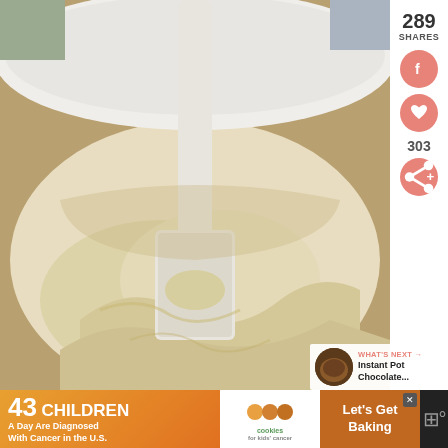[Figure (photo): Close-up photo of creamy batter in a white mixing bowl with a white spatula, showing fluffy yellow-white cake or bread batter being mixed.]
289 SHARES
[Figure (infographic): Social media share buttons sidebar: Facebook button (salmon/pink circle with f icon), heart/like button (salmon/pink circle with heart icon), count 303, share button (salmon/pink circle with share icon).]
WHAT'S NEXT → Instant Pot Chocolate...
[Figure (infographic): Advertisement banner: '43 CHILDREN A Day Are Diagnosed With Cancer in the U.S.' with Cookies for Kids Cancer logo and 'Let's Get Baking' on orange/brown background.]